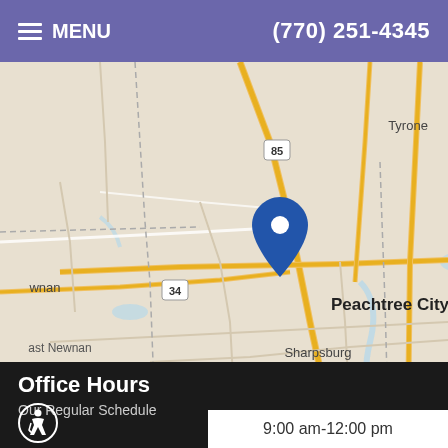MENU  (770) 251-4345
[Figure (map): Street/road map centered on Peachtree City, Georgia showing surrounding areas including Tyrone, Fayetteville, Irondale, Lovejoy, Hampton, Sharpsburg, Moreland, East Newnan, with highways 85, 54, 34, 138, 19, 41 marked. A blue location pin is placed on Peachtree City. Map attribution: Leaflet | Map data provided by Internet Brands]
Office Hours
Our Regular Schedule
9:00 am-12:00 pm